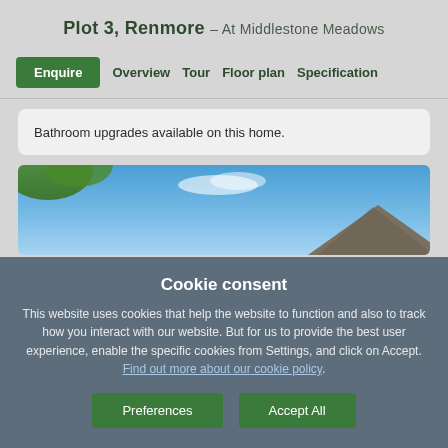Plot 3, Renmore – At Middlestone Meadows
Enquire   Overview   Tour   Floor plan   Specification
Bathroom upgrades available on this home.
[Figure (photo): Exterior photo of a residential home roofline against blue sky with green tree foliage visible]
Cookie consent

This website uses cookies that help the website to function and also to track how you interact with our website. But for us to provide the best user experience, enable the specific cookies from Settings, and click on Accept. Find out more about our cookie policy.

Preferences   Accept All